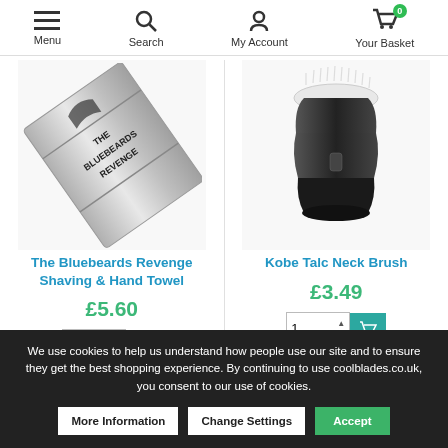Menu | Search | My Account | Your Basket (0)
[Figure (photo): The Bluebeards Revenge Shaving & Hand Towel product image - metallic razor/towel with THE BLUEBEARDS REVENGE text]
The Bluebeards Revenge Shaving & Hand Towel
£5.60
[Figure (photo): Kobe Talc Neck Brush product image - black brush with white bristles]
Kobe Talc Neck Brush
£3.49
We use cookies to help us understand how people use our site and to ensure they get the best shopping experience. By continuing to use coolblades.co.uk, you consent to our use of cookies.
More Information | Change Settings | Accept